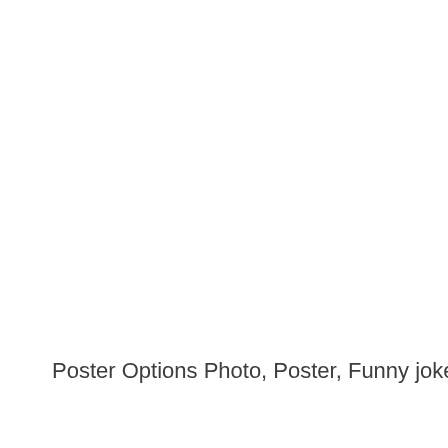Poster Options Photo, Poster, Funny jokes